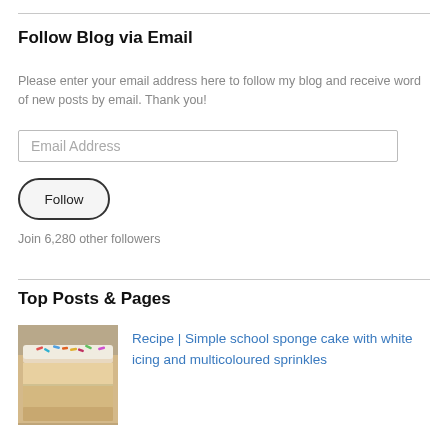Follow Blog via Email
Please enter your email address here to follow my blog and receive word of new posts by email. Thank you!
Email Address
Follow
Join 6,280 other followers
Top Posts & Pages
[Figure (photo): Photo of a school sponge cake with white icing and multicoloured sprinkles]
Recipe | Simple school sponge cake with white icing and multicoloured sprinkles